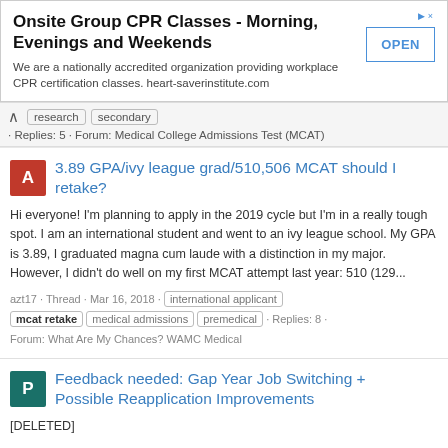[Figure (other): Advertisement banner for Onsite Group CPR Classes with OPEN button]
research · secondary · Replies: 5 · Forum: Medical College Admissions Test (MCAT)
3.89 GPA/ivy league grad/510,506 MCAT should I retake?
Hi everyone! I'm planning to apply in the 2019 cycle but I'm in a really tough spot. I am an international student and went to an ivy league school. My GPA is 3.89, I graduated magna cum laude with a distinction in my major. However, I didn't do well on my first MCAT attempt last year: 510 (129...
azt17 · Thread · Mar 16, 2018 · international applicant · mcat retake · medical admissions · premedical · Replies: 8 · Forum: What Are My Chances? WAMC Medical
Feedback needed: Gap Year Job Switching + Possible Reapplication Improvements
[DELETED]